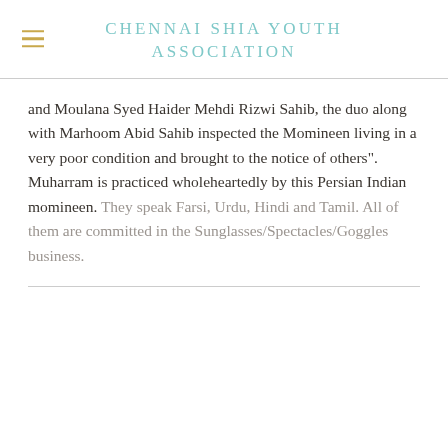CHENNAI SHIA YOUTH ASSOCIATION
and Moulana Syed Haider Mehdi Rizwi Sahib, the duo along with Marhoom Abid Sahib inspected the Momineen living in a very poor condition and brought to the notice of others".  Muharram is practiced wholeheartedly by this Persian Indian momineen. They speak Farsi, Urdu, Hindi and Tamil. All of them are committed in the Sunglasses/Spectacles/Goggles business.